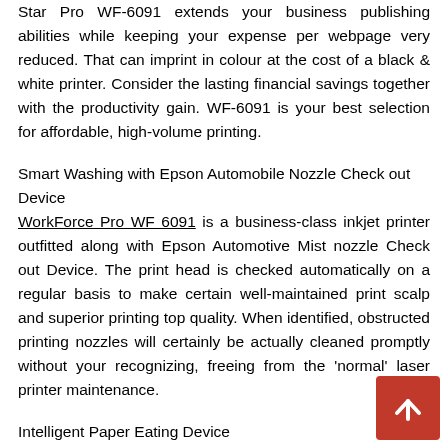Star Pro WF-6091 extends your business publishing abilities while keeping your expense per webpage very reduced. That can imprint in colour at the cost of a black & white printer. Consider the lasting financial savings together with the productivity gain. WF-6091 is your best selection for affordable, high-volume printing.
Smart Washing with Epson Automobile Nozzle Check out Device
WorkForce Pro WF 6091 is a business-class inkjet printer outfitted along with Epson Automotive Mist nozzle Check out Device. The print head is checked automatically on a regular basis to make certain well-maintained print scalp and superior printing top quality. When identified, obstructed printing nozzles will certainly be actually cleaned promptly without your recognizing, freeing from the 'normal' laser printer maintenance.
Intelligent Paper Eating Device
Performs broadband nourishing equivalent newspaper bind? WF-6091 verifies this inappropriate. Because of the impressive Front end and Back Edge Detectors that accurately re newspaper posture, excess space between slabs is virtually eliminated. Epson has additionally added a Dual Feed